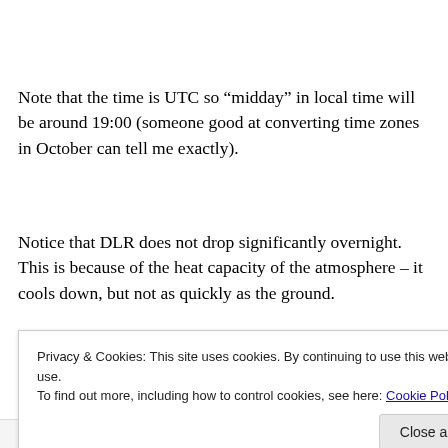Note that the time is UTC so “midday” in local time will be around 19:00 (someone good at converting time zones in October can tell me exactly).
Notice that DLR does not drop significantly overnight. This is because of the heat capacity of the atmosphere – it cools down, but not as quickly as the ground.
DLR is a function of the temperature of the atmosphere
Privacy & Cookies: This site uses cookies. By continuing to use this website, you agree to their use.
To find out more, including how to control cookies, see here: Cookie Policy